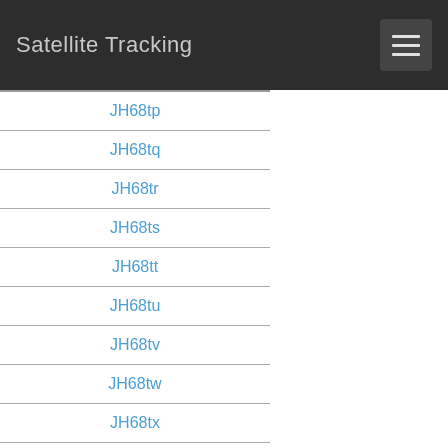Satellite Tracking
JH68tp
JH68tq
JH68tr
JH68ts
JH68tt
JH68tu
JH68tv
JH68tw
JH68tx
JH68ua
JH68ub
JH68uc
JH68ud
JH68ue
JH68uf
JH68ug
JH68uh